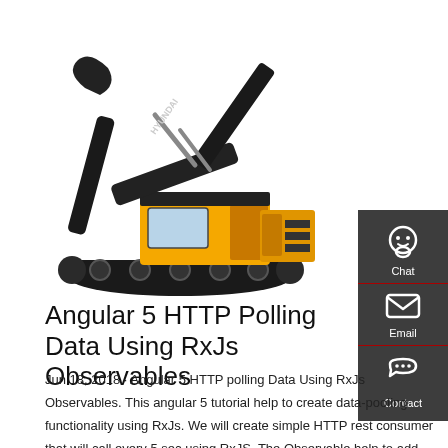[Figure (photo): A Hyundai yellow and black excavator/construction machine on white background]
Angular 5 HTTP Polling Data Using RxJs Observables
Jun 18, 2018 · Angular 5 HTTP polling Data Using RxJs Observables. This angular 5 tutorial help to create data-pooling functionality using RxJs. We will create simple HTTP rest consumer that will call every 5 sec using RxJS. The Observable help to add subscriber to get data from HTTP and set to ...